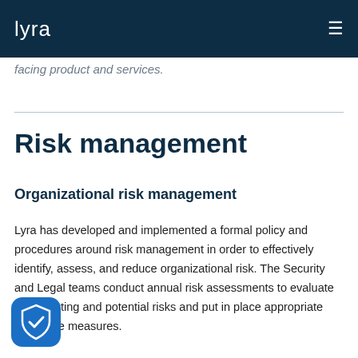lyra
facing product and services.
Risk management
Organizational risk management
Lyra has developed and implemented a formal policy and procedures around risk management in order to effectively identify, assess, and reduce organizational risk. The Security and Legal teams conduct annual risk assessments to evaluate both existing and potential risks and put in place appropriate corrective measures.